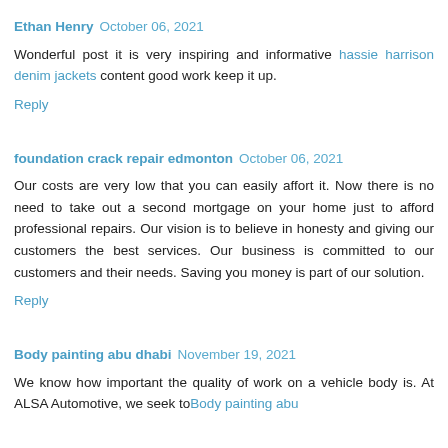Ethan Henry  October 06, 2021
Wonderful post it is very inspiring and informative hassie harrison denim jackets content good work keep it up.
Reply
foundation crack repair edmonton  October 06, 2021
Our costs are very low that you can easily affort it. Now there is no need to take out a second mortgage on your home just to afford professional repairs. Our vision is to believe in honesty and giving our customers the best services. Our business is committed to our customers and their needs. Saving you money is part of our solution.
Reply
Body painting abu dhabi  November 19, 2021
We know how important the quality of work on a vehicle body is. At ALSA Automotive, we seek to Body painting abu